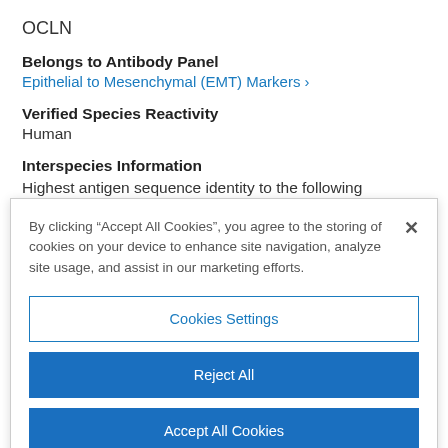OCLN
Belongs to Antibody Panel
Epithelial to Mesenchymal (EMT) Markers >
Verified Species Reactivity
Human
Interspecies Information
Highest antigen sequence identity to the following orthologs:
By clicking “Accept All Cookies”, you agree to the storing of cookies on your device to enhance site navigation, analyze site usage, and assist in our marketing efforts.
Cookies Settings
Reject All
Accept All Cookies